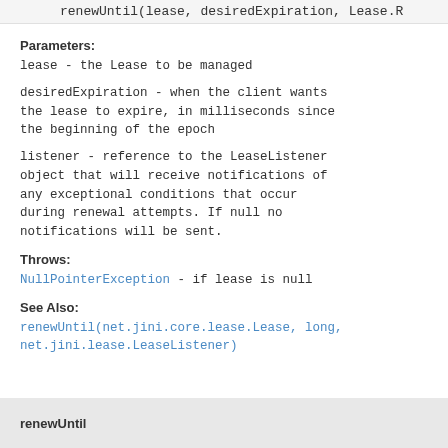renewUntil(lease, desiredExpiration, Lease.R
Parameters:
lease - the Lease to be managed
desiredExpiration - when the client wants the lease to expire, in milliseconds since the beginning of the epoch
listener - reference to the LeaseListener object that will receive notifications of any exceptional conditions that occur during renewal attempts. If null no notifications will be sent.
Throws:
NullPointerException - if lease is null
See Also:
renewUntil(net.jini.core.lease.Lease, long, net.jini.lease.LeaseListener)
renewUntil